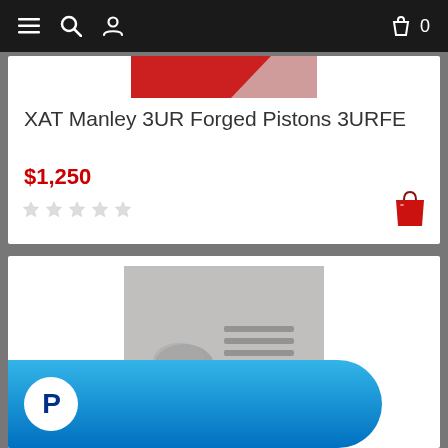Navigation bar with menu, search, user, cart (0) icons
[Figure (screenshot): Partial product image showing red background with white element, top of product card]
XAT Manley 3UR Forged Pistons 3URFE
$1,250
[Figure (other): Five empty/unfilled star rating icons]
[Figure (other): Red shopping bag icon in bottom right of product card]
[Figure (photo): Photo of automotive parts (pistons/hardware) on grey background]
[Figure (other): PayPal button - blue pill-shaped button with white P logo on left]